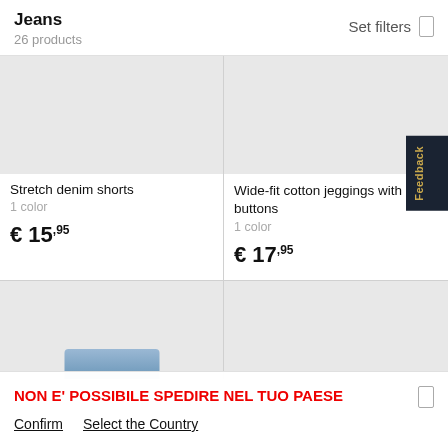Jeans
26 products
Set filters
[Figure (photo): Product image placeholder - light gray background for stretch denim shorts]
Stretch denim shorts
1 color
€ 15,95
[Figure (photo): Product image placeholder - light gray background for wide-fit cotton jeggings]
Wide-fit cotton jeggings with buttons
1 color
€ 17,95
[Figure (photo): Product image placeholder - light gray background with partial blue jeans visible at bottom]
[Figure (photo): Product image placeholder - light gray background]
NON E' POSSIBILE SPEDIRE NEL TUO PAESE
Confirm    Select the Country